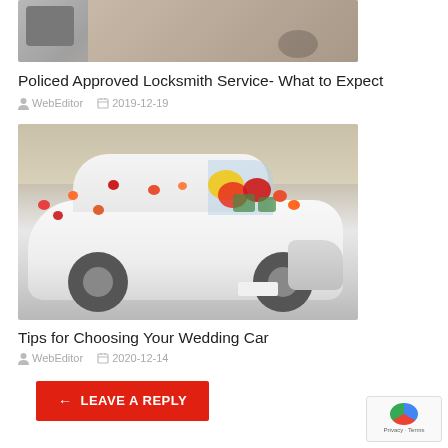[Figure (photo): Partial photo of a locksmith-related object, cropped at top]
Policed Approved Locksmith Service- What to Expect
WebEditor  2019-12-19
[Figure (photo): White Jaguar car decorated with red, orange, and yellow flowers for a wedding]
Tips for Choosing Your Wedding Car
WebEditor  2020-12-14
LEAVE A REPLY